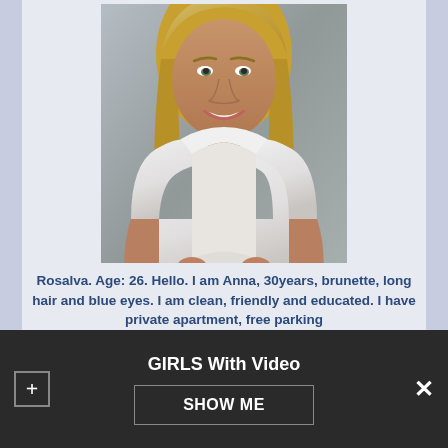[Figure (photo): Woman with blonde hair wearing a white top, smiling at camera]
Rosalva. Age: 26. Hello. I am Anna, 30years, brunette, long hair and blue eyes. I am clean, friendly and educated. I have private apartment, free parking
GIRLS With Video
SHOW ME